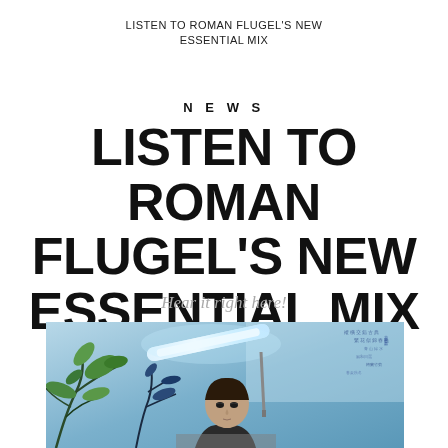LISTEN TO ROMAN FLUGEL'S NEW ESSENTIAL MIX
NEWS
LISTEN TO ROMAN FLUGEL'S NEW ESSENTIAL MIX
Hear it right here!
[Figure (photo): Photo of Roman Flugel sitting at a desk in front of a decorative wall with painted plants and Chinese/Japanese text, with a bright fluorescent tube light behind him. The scene has a blue-tinted ambient light.]